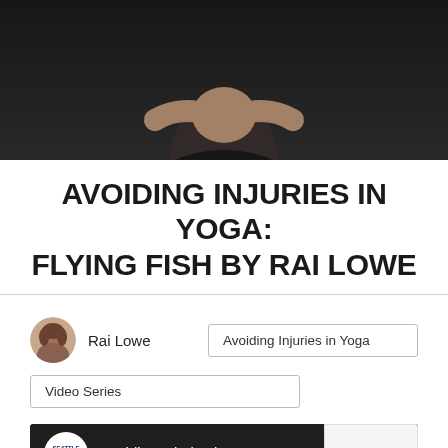[Figure (photo): Dark background photo of a person in black clothing, upper body visible, appearing to be in a yoga or dance pose, photographed from the torso up against a dark gray/charcoal background.]
AVOIDING INJURIES IN YOGA: FLYING FISH BY RAI LOWE
[Figure (other): Author avatar circular photo of Rai Lowe, a woman with brown hair, small portrait photo.]
Rai Lowe
Avoiding Injuries in Yoga
Video Series
[Figure (screenshot): YouTube video embed preview showing 'Avoiding Injuries in Yoga w...' with Seattle Yoga News logo circle on the left, three-dot menu on the right, and blurred video thumbnail showing people in yoga poses at the bottom. A reCAPTCHA widget overlaps the right side.]